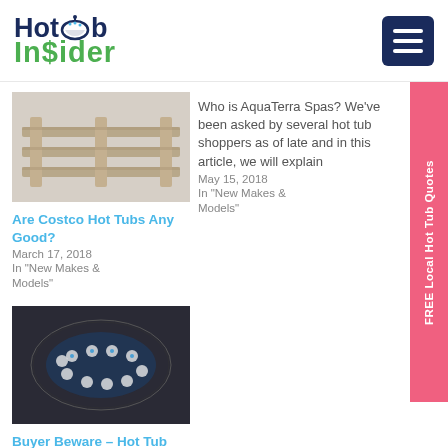Hot Tub Insider
[Figure (photo): Wooden pallet photo]
Are Costco Hot Tubs Any Good?
March 17, 2018
In "New Makes & Models"
Who is AquaTerra Spas? We've been asked by several hot tub shoppers as of late and in this article, we will explain
May 15, 2018
In "New Makes & Models"
[Figure (photo): Hot tub expo aerial view photo]
Buyer Beware – Hot Tub Expos, Hot Tub Super Sales, and Hot Tub Shows
March 6, 2018
FREE Local Hot Tub Quotes